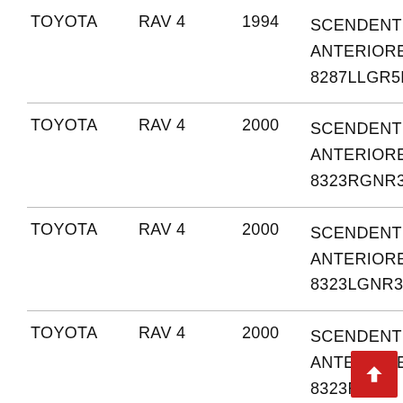| Make | Model | Year | Description |
| --- | --- | --- | --- |
| TOYOTA | RAV 4 | 1994 | SCENDENTE
ANTERIORE
8287LLGR5F |
| TOYOTA | RAV 4 | 2000 | SCENDENTE
ANTERIORE
8323RGNR3F |
| TOYOTA | RAV 4 | 2000 | SCENDENTE
ANTERIORE
8323LGNR3F |
| TOYOTA | RAV 4 | 2000 | SCENDENTE
ANTERIORE
8323R...5F |